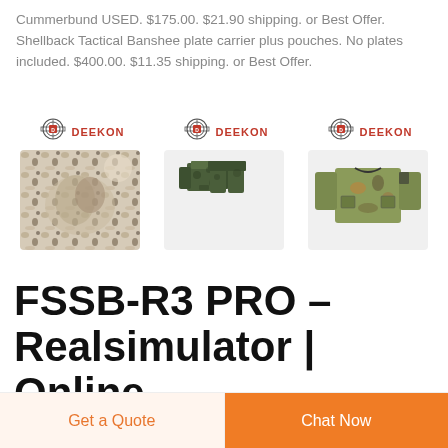Cummerbund USED. $175.00. $21.90 shipping. or Best Offer. Shellback Tactical Banshee plate carrier plus pouches. No plates included. $400.00. $11.35 shipping. or Best Offer.
[Figure (photo): Three product images from DEEKON brand: camouflage fabric, camouflage uniform set (jacket and pants), and camouflage jacket]
FSSB-R3 PRO – Realsimulator | Online Shop
Get a Quote
Chat Now